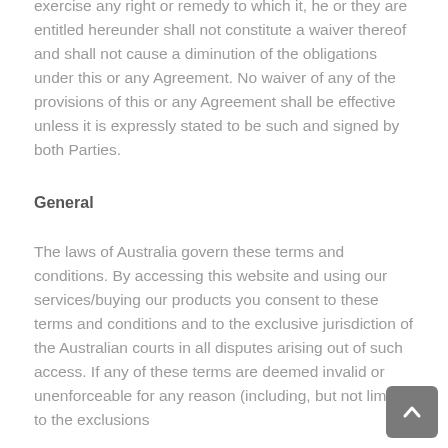exercise any right or remedy to which it, he or they are entitled hereunder shall not constitute a waiver thereof and shall not cause a diminution of the obligations under this or any Agreement. No waiver of any of the provisions of this or any Agreement shall be effective unless it is expressly stated to be such and signed by both Parties.
General
The laws of Australia govern these terms and conditions. By accessing this website and using our services/buying our products you consent to these terms and conditions and to the exclusive jurisdiction of the Australian courts in all disputes arising out of such access. If any of these terms are deemed invalid or unenforceable for any reason (including, but not limited to the exclusions